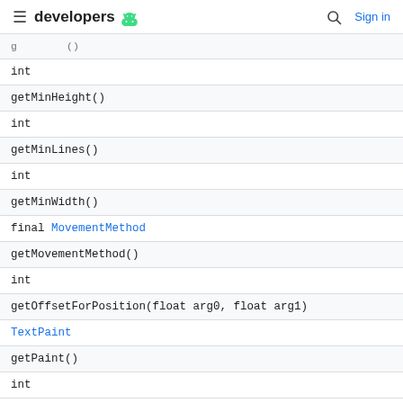developers [android logo] | [search] Sign in
| int |
| getMinHeight() |
| int |
| getMinLines() |
| int |
| getMinWidth() |
| final MovementMethod |
| getMovementMethod() |
| int |
| getOffsetForPosition(float arg0, float arg1) |
| TextPaint |
| getPaint() |
| int |